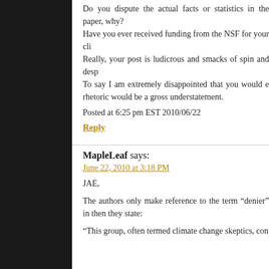Do you dispute the actual facts or statistics in the paper, why?
Have you ever received funding from the NSF for your cli
Really, your post is ludicrous and smacks of spin and desp
To say I am extremely disappointed that you would e rhetoric would be a gross understatement.
Posted at 6:25 pm EST 2010/06/22
Reply
MapleLeaf says:
June 22, 2010 at 3:18 PM
JAE,
The authors only make reference to the term “denier” in then they state:
“This group, often termed climate change skeptics, con